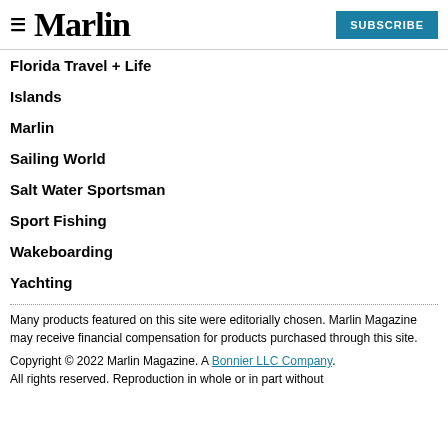≡ Marlin | SUBSCRIBE
Florida Travel + Life
Islands
Marlin
Sailing World
Salt Water Sportsman
Sport Fishing
Wakeboarding
Yachting
Many products featured on this site were editorially chosen. Marlin Magazine may receive financial compensation for products purchased through this site.
Copyright © 2022 Marlin Magazine. A Bonnier LLC Company. All rights reserved. Reproduction in whole or in part without